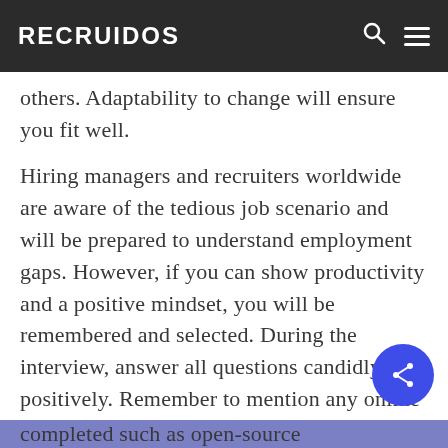RECRUIDOS
others. Adaptability to change will ensure you fit well.
Hiring managers and recruiters worldwide are aware of the tedious job scenario and will be prepared to understand employment gaps. However, if you can show productivity and a positive mindset, you will be remembered and selected. During the interview, answer all questions candidly and positively. Remember to mention any online courses that you have completed such as open-source